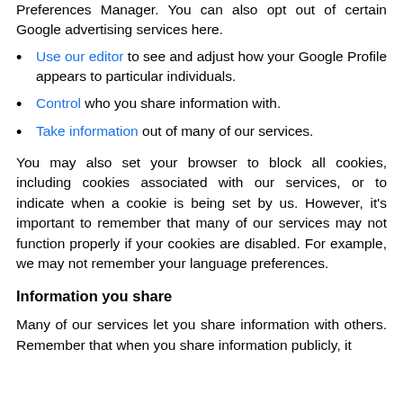Preferences Manager. You can also opt out of certain Google advertising services here.
Use our editor to see and adjust how your Google Profile appears to particular individuals.
Control who you share information with.
Take information out of many of our services.
You may also set your browser to block all cookies, including cookies associated with our services, or to indicate when a cookie is being set by us. However, it's important to remember that many of our services may not function properly if your cookies are disabled. For example, we may not remember your language preferences.
Information you share
Many of our services let you share information with others. Remember that when you share information publicly, it